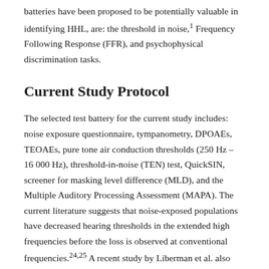batteries have been proposed to be potentially valuable in identifying HHL, are: the threshold in noise,¹ Frequency Following Response (FFR), and psychophysical discrimination tasks.
Current Study Protocol
The selected test battery for the current study includes: noise exposure questionnaire, tympanometry, DPOAEs, TEOAEs, pure tone air conduction thresholds (250 Hz – 16 000 Hz), threshold-in-noise (TEN) test, QuickSIN, screener for masking level difference (MLD), and the Multiple Auditory Processing Assessment (MAPA). The current literature suggests that noise-exposed populations have decreased hearing thresholds in the extended high frequencies before the loss is observed at conventional frequencies.²⁴˒²⁵ A recent study by Liberman et al. also observed the differences between normal hearing